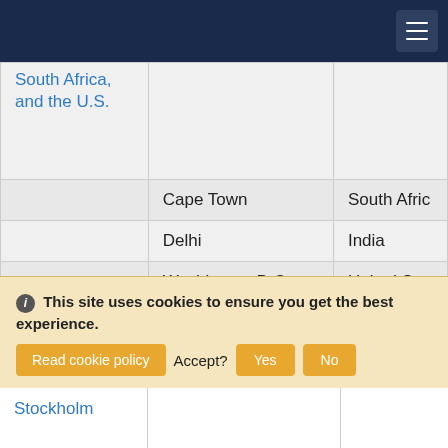Navigation bar with hamburger menu
| Program | City | Country |
| --- | --- | --- |
| South Africa, and the U.S. |  |  |
|  | Cape Town | South Africa |
|  | Delhi | India |
|  | Washington D.C. | United States |
| CGIS: Health, Culture and Development in Cape Town, South Africa | Cape Town | South Africa |
| CGIS: Honors First Semester... |  |  |
|  | Stockholm |  |
This site uses cookies to ensure you get the best experience. Accept?
Read cookie policy
Yes
No